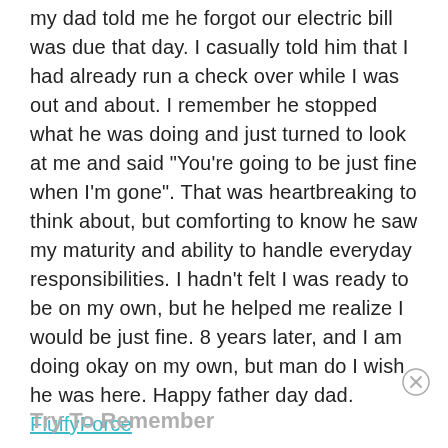my dad told me he forgot our electric bill was due that day. I casually told him that I had already run a check over while I was out and about. I remember he stopped what he was doing and just turned to look at me and said "You're going to be just fine when I'm gone". That was heartbreaking to think about, but comforting to know he saw my maturity and ability to handle everyday responsibilities. I hadn't felt I was ready to be on my own, but he helped me realize I would be just fine. 8 years later, and I am doing okay on my own, but man do I wish he was here. Happy father day dad. FluffyForce
Try To Remember